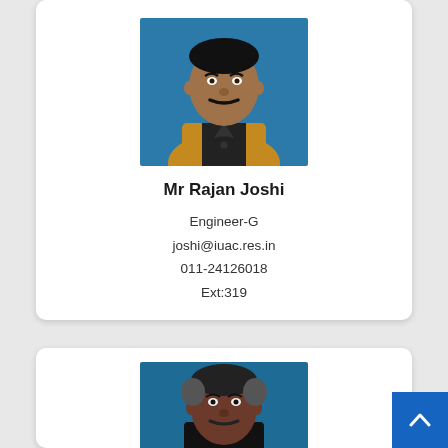[Figure (photo): Photo of Mr Rajan Joshi, a man in a yellow/golden vest over black shirt, against blue background]
Mr Rajan Joshi
Engineer-G
joshi@iuac.res.in
011-24126018
Ext:319
[Figure (photo): Photo of another person, a man with short hair against a blue background, partially visible]